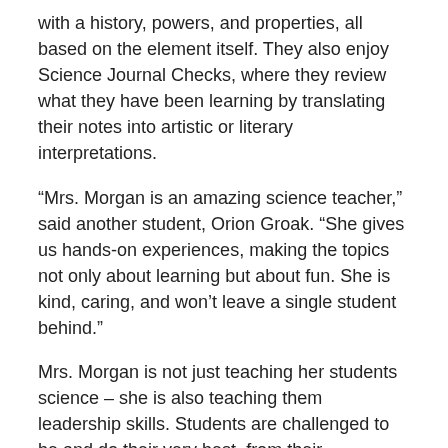with a history, powers, and properties, all based on the element itself. They also enjoy Science Journal Checks, where they review what they have been learning by translating their notes into artistic or literary interpretations.
“Mrs. Morgan is an amazing science teacher,” said another student, Orion Groak. “She gives us hands-on experiences, making the topics not only about learning but about fun. She is kind, caring, and won’t leave a single student behind.”
Mrs. Morgan is not just teaching her students science – she is also teaching them leadership skills. Students are challenged to be and do their very best, from their assignments to the way they interact within groups and partnerships. The lessons have built not only their knowledge base, but also their self-reliance.
“Mrs. Morgan is a really fun, energetic, and optimistic teacher,” said Charlie Russo, another student in her class. “She makes learning interesting even if you don’t like…